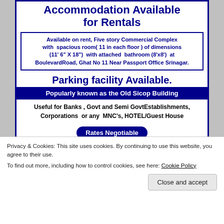Accommodation Available for Rentals
Available on rent, Five story Commercial Complex with spacious room( 11 in each floor ) of dimensions (11' 6" X 18") with attached bathroom (8'x8') at BoulevardRoad, Ghat No 11 Near Passport Office Srinagar.
Parking facility Available.
Popularly known as the Old Sicop Building
Useful for Banks , Govt and Semi GovtEstablishments, Corporations or any MNC's, HOTEL/Guest House
Rates Negotiable
For queries about Rental charges Contact Us
Contact No: 9419065290
( EngRiyaz A. Dar)
Privacy & Cookies: This site uses cookies. By continuing to use this website, you agree to their use.
To find out more, including how to control cookies, see here: Cookie Policy
Close and accept